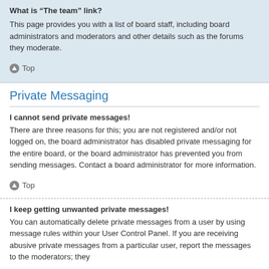What is "The team" link?
This page provides you with a list of board staff, including board administrators and moderators and other details such as the forums they moderate.
Top
Private Messaging
I cannot send private messages!
There are three reasons for this; you are not registered and/or not logged on, the board administrator has disabled private messaging for the entire board, or the board administrator has prevented you from sending messages. Contact a board administrator for more information.
Top
I keep getting unwanted private messages!
You can automatically delete private messages from a user by using message rules within your User Control Panel. If you are receiving abusive private messages from a particular user, report the messages to the moderators; they